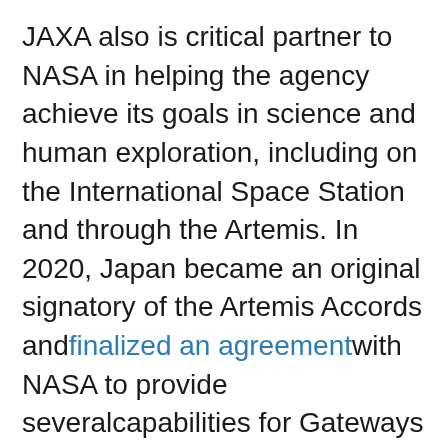JAXA also is critical partner to NASA in helping the agency achieve its goals in science and human exploration, including on the International Space Station and through the Artemis. In 2020, Japan became an original signatory of the Artemis Accords andfinalized an agreementwith NASA to provide severalcapabilities for Gateways I-HAB, which will provide the heart of Gateway life support capabilities and additional space where crew will live, work, and conduct research during Artemis missions. JAXAs planned contributions include I-HABs environmental control and life support system, batteries, thermal control,andimagerycomponents, which will